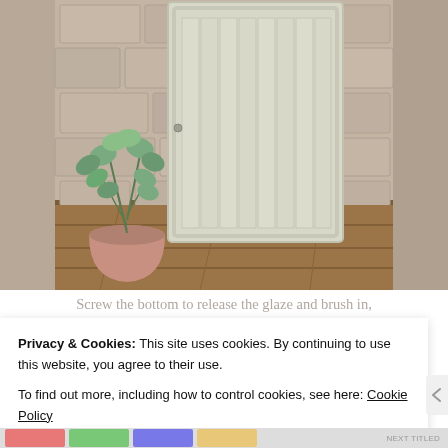[Figure (photo): A white/cream painted cabinet door with vertical bead board slats leaning against a stone wall, beside a small potted eucalyptus plant on a wooden surface.]
Screw the bottom to release the glaze and brush in,
Privacy & Cookies: This site uses cookies. By continuing to use this website, you agree to their use.
To find out more, including how to control cookies, see here: Cookie Policy
Close and accept